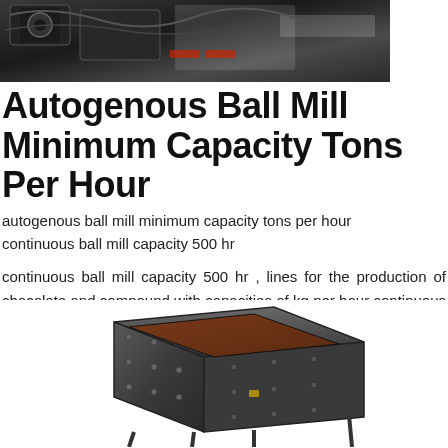[Figure (photo): Industrial ball mill machinery with equipment and Chinese text signage in background]
Autogenous Ball Mill Minimum Capacity Tons Per Hour
autogenous ball mill minimum capacity tons per hour
continuous ball mill capacity 500 hr
continuous ball mill capacity 500 hr , lines for the production of chocolate and compound with capacities of kg per hour continuous ball mills for the fine.
More
[Figure (photo): Industrial vibrating screen or sieve machine, dark grey/black metal construction with bolted panels]